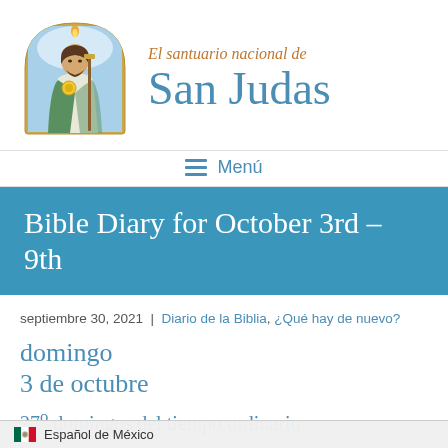[Figure (illustration): Religious illustration of Saint Jude Thaddeus holding a staff with a flame above his head, wearing white and green robes]
El santuario nacional de San Judas
Menú
Bible Diary for October 3rd – 9th
septiembre 30, 2021 | Diario de la Biblia, ¿Qué hay de nuevo?
domingo
3 de octubre
27o domingos del tiempo ordinario